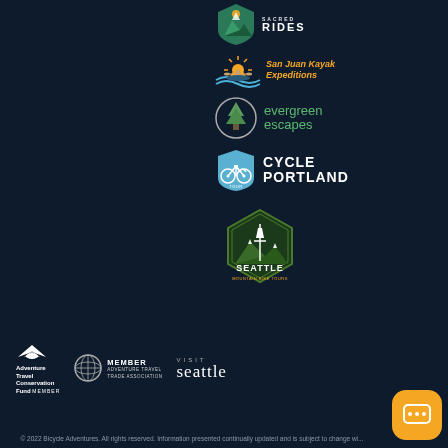[Figure (logo): Sacred Rides logo - shield icon with mountains and text SACRED RIDES in white on dark background]
[Figure (logo): San Juan Kayak Expeditions logo - sun and kayaker icon with orange text]
[Figure (logo): Evergreen Escapes logo - circular tree icon with green text]
[Figure (logo): Cycle Portland logo - bicycle icon in blue circle with bold white text CYCLE PORTLAND]
[Figure (logo): Seattle Mountain Bike Tours logo - hexagon badge with Seattle skyline and mountains]
[Figure (logo): Adventure Travel Conservation Fund Member logo with wing icon]
[Figure (logo): Adventure Travel Trade Association Member badge with globe icon]
[Figure (logo): Visit Seattle logo]
© 2022 Bicycle Adventures. All rights reserved. Information presented continually updated and is subject to change wi...